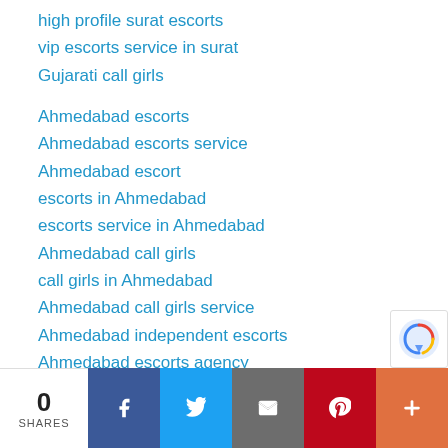high profile surat escorts
vip escorts service in surat
Gujarati call girls
Ahmedabad escorts
Ahmedabad escorts service
Ahmedabad escort
escorts in Ahmedabad
escorts service in Ahmedabad
Ahmedabad call girls
call girls in Ahmedabad
Ahmedabad call girls service
Ahmedabad independent escorts
Ahmedabad escorts agency
0 SHARES | Facebook | Twitter | Email | Pinterest | More